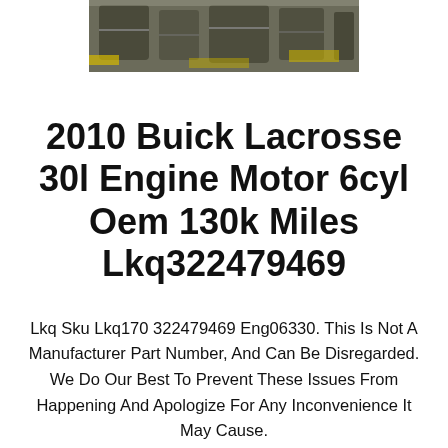[Figure (photo): Partial top view of an automotive engine/motor in a warehouse or junkyard setting, with yellow equipment visible in the background.]
2010 Buick Lacrosse 30l Engine Motor 6cyl Oem 130k Miles Lkq322479469
Lkq Sku Lkq170 322479469 Eng06330. This Is Not A Manufacturer Part Number, And Can Be Disregarded. We Do Our Best To Prevent These Issues From Happening And Apologize For Any Inconvenience It May Cause.